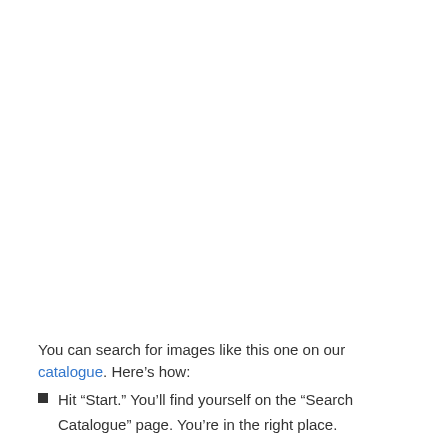You can search for images like this one on our catalogue. Here's how:
Hit “Start.” You’ll find yourself on the “Search
Catalogue” page. You’re in the right place.